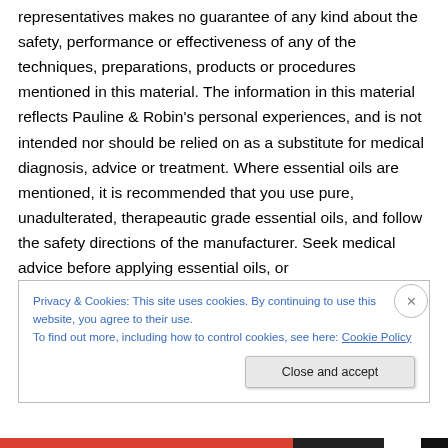representatives makes no guarantee of any kind about the safety, performance or effectiveness of any of the techniques, preparations, products or procedures mentioned in this material. The information in this material reflects Pauline & Robin's personal experiences, and is not intended nor should be relied on as a substitute for medical diagnosis, advice or treatment. Where essential oils are mentioned, it is recommended that you use pure, unadulterated, therapeautic grade essential oils, and follow the safety directions of the manufacturer. Seek medical advice before applying essential oils, or
Privacy & Cookies: This site uses cookies. By continuing to use this website, you agree to their use.
To find out more, including how to control cookies, see here: Cookie Policy
Close and accept